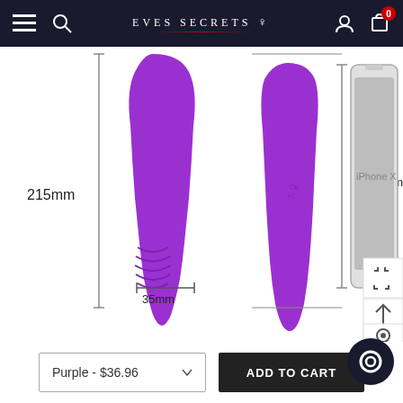EVES SECRETS
[Figure (photo): Product size comparison image showing a purple vibrator from two angles (front and back) with dimensions 215mm height and 35mm width, compared to an iPhone X at 143.5mm height]
Purple - $36.96
ADD TO CART